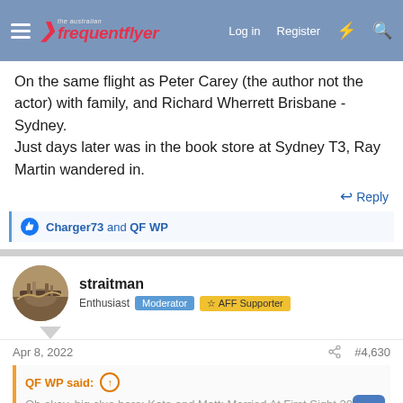the Australian Frequent Flyer — Log in  Register
On the same flight as Peter Carey (the author not the actor) with family, and Richard Wherrett Brisbane - Sydney.
Just days later was in the book store at Sydney T3, Ray Martin wandered in.
↩ Reply
👍 Charger73 and QF WP
straitman
Enthusiast  Moderator  ⭐ AFF Supporter
Apr 8, 2022  #4,630
QF WP said: ⊕
Oh okay, big clue here: Kate and Matt: Married At First Sight 2022...
Couple Official Bio | MAFS Season 9